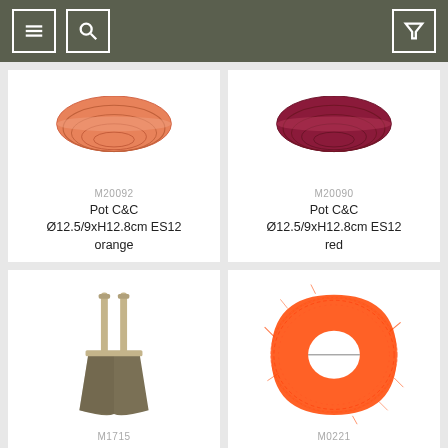Navigation bar with menu, search, and filter icons
M20092
Pot C&C Ø12.5/9xH12.8cm ES12 orange
M20090
Pot C&C Ø12.5/9xH12.8cm ES12 red
M1715
M0221